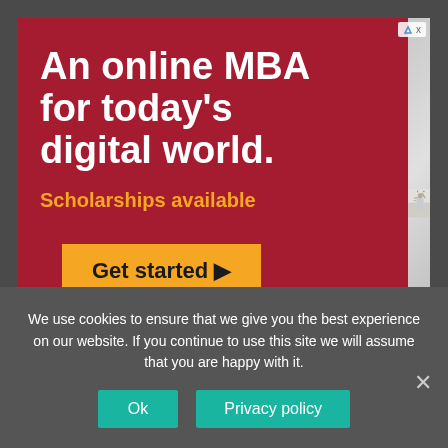[Figure (illustration): Advertisement banner for WashU Olin Business School online MBA program. Left side is dark red background with white headline text 'An online MBA for today's digital world.' and orange text 'Scholarships available', a gold 'Get started ▶' button, and WashU Olin Business School logo with shield. Right side shows a photo of a professor writing on a whiteboard.]
We use cookies to ensure that we give you the best experience on our website. If you continue to use this site we will assume that you are happy with it.
Ok
Privacy policy